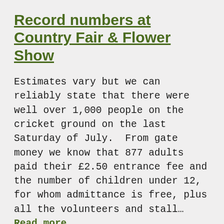Record numbers at Country Fair & Flower Show
Estimates vary but we can reliably state that there were well over 1,000 people on the cricket ground on the last Saturday of July.  From gate money we know that 877 adults paid their £2.50 entrance fee and the number of children under 12, for whom admittance is free, plus all the volunteers and stall… Read more…